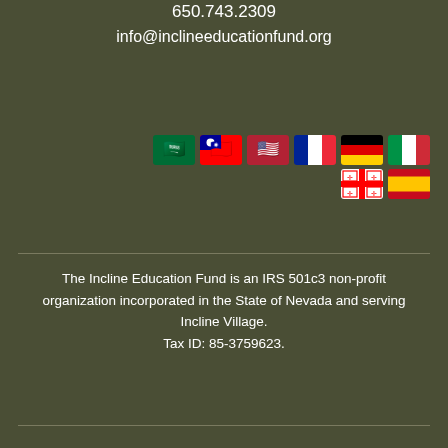650.743.2309
info@inclineeducationfund.org
[Figure (illustration): Two rows of country flag emoji icons: Saudi Arabia, Taiwan, USA, France, Germany, Italy in first row; Georgia and Spain in second row]
The Incline Education Fund is an IRS 501c3 non-profit organization incorporated in the State of Nevada and serving Incline Village. Tax ID: 85-3759623.